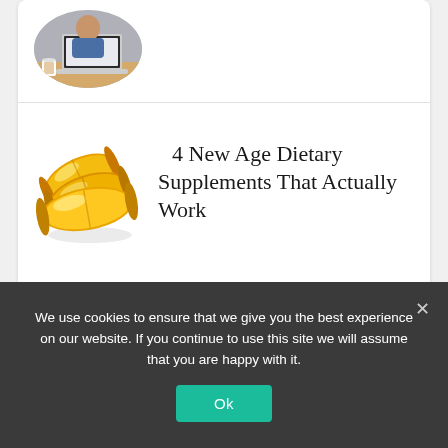[Figure (photo): Partial view of a circular cropped photo showing a person working at a laptop with a cup of coffee, only the bottom portion visible]
[Figure (photo): Golden yellow gelatin capsule/softgel dietary supplements, three capsules clustered together on a white background]
4 New Age Dietary Supplements That Actually Work
We use cookies to ensure that we give you the best experience on our website. If you continue to use this site we will assume that you are happy with it.